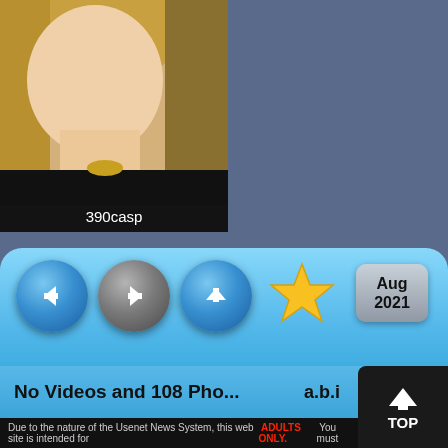[Figure (photo): Partial view of a woman with blonde hair wearing a black top with a gold necklace, shown from chin to chest]
390casp
20 photos
Posted by: anonym
Viewed 19 times | 0 comments
Delete from Favs
Adjust Preview Functions:
2 or 4 columns per page
[Figure (screenshot): Navigation bar with back arrow button (blue), forward arrow button (grey), up arrow button (blue), gold star button, and a grey date button showing Aug 2021]
No Videos and 108 Pho...
a.b.i
TOP
Due to the nature of the Usenet News System, this web site is intended for ADULTS ONLY. You must